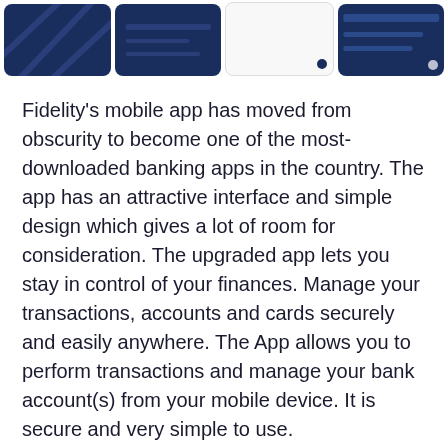[Figure (screenshot): A horizontal strip of four mobile app screenshots showing Fidelity banking app screens. Two dark navy blue screens on the left, one white/light screen, and one dark screen partially visible on the right. Some screens have a small circular dot indicator.]
Fidelity's mobile app has moved from obscurity to become one of the most-downloaded banking apps in the country. The app has an attractive interface and simple design which gives a lot of room for consideration. The upgraded app lets you stay in control of your finances. Manage your transactions, accounts and cards securely and easily anywhere. The App allows you to perform transactions and manage your bank account(s) from your mobile device. It is secure and very simple to use.
The 31MB app comes with customized biometric/fingerprint authentication for easy and safe login operation. Users will have the opportunity to view all their accounts within the app. The app